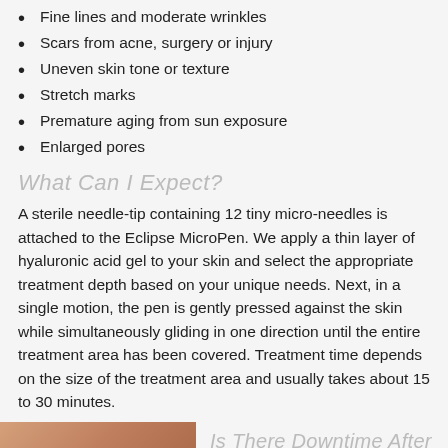Fine lines and moderate wrinkles
Scars from acne, surgery or injury
Uneven skin tone or texture
Stretch marks
Premature aging from sun exposure
Enlarged pores
What Can I Expect?
A sterile needle-tip containing 12 tiny micro-needles is attached to the Eclipse MicroPen. We apply a thin layer of hyaluronic acid gel to your skin and select the appropriate treatment depth based on your unique needs. Next, in a single motion, the pen is gently pressed against the skin while simultaneously gliding in one direction until the entire treatment area has been covered. Treatment time depends on the size of the treatment area and usually takes about 15 to 30 minutes.
[Figure (photo): Close-up photo of skin with an accessibility icon button in the lower left corner]
Is There Downtime After MicroPen Treatments?